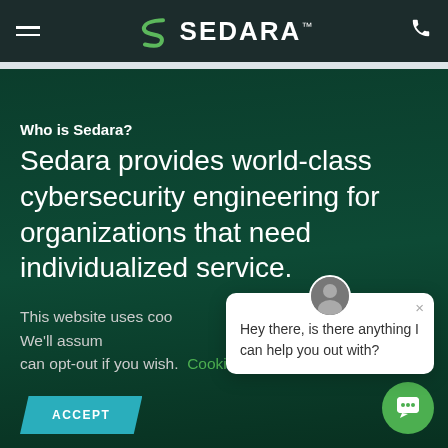SEDARA™ navigation bar with hamburger menu and phone icon
Who is Sedara?
Sedara provides world-class cybersecurity engineering for organizations that need individualized service.
This website uses coo[kies to improve your] experience. We'll assum[e you're ok with this, but you] can opt-out if you wish.
Cookie settings
ACCEPT
Hey there, is there anything I can help you out with?